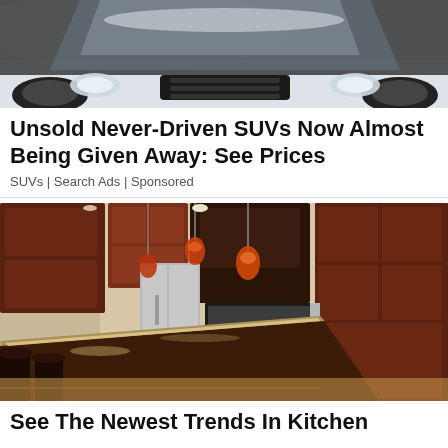[Figure (photo): Partial view of a dark car from above, showing hood/windshield area in snowy or light conditions]
Unsold Never-Driven SUVs Now Almost Being Given Away: See Prices
SUVs | Search Ads | Sponsored
[Figure (photo): Luxury kitchen with dark wood cabinets, granite island countertop, bar seating, pendant lights, stainless appliances]
See The Newest Trends In Kitchen